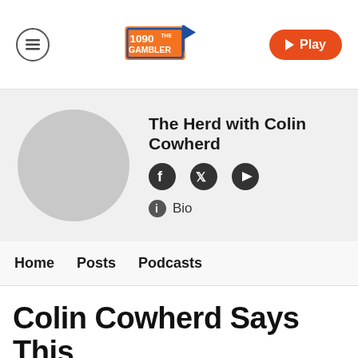[Figure (logo): 1090 The Gambler radio station logo with flag icon]
Play
[Figure (photo): Circular gray avatar placeholder for The Herd with Colin Cowherd]
The Herd with Colin Cowherd
[Figure (other): Social media icons: Facebook, Twitter, YouTube]
Bio
Home   Posts   Podcasts
Colin Cowherd Says This